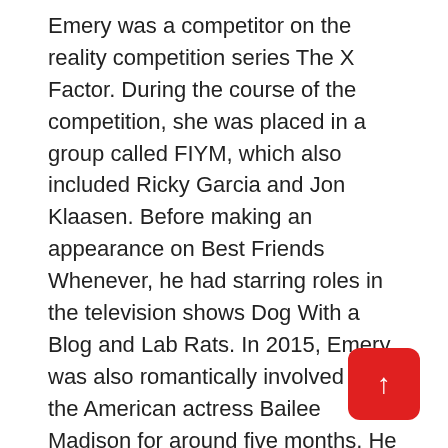Emery was a competitor on the reality competition series The X Factor. During the course of the competition, she was placed in a group called FIYM, which also included Ricky Garcia and Jon Klaasen. Before making an appearance on Best Friends Whenever, he had starring roles in the television shows Dog With a Blog and Lab Rats. In 2015, Emery was also romantically involved with the American actress Bailee Madison for around five months. He has a lot of experience in sports and is a huge gamer. Kelly was offered the lead part of Lucas in the Netflix original comedy series Alexa & Katie, which is shot with several cameras, back in April of 2017.